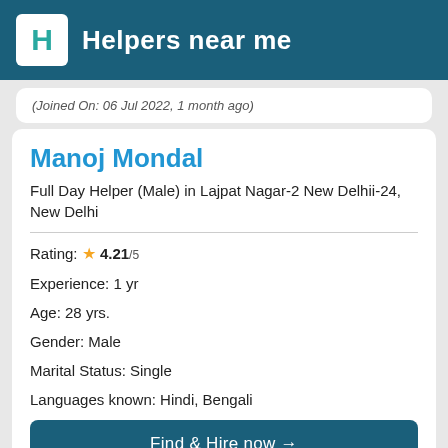Helpers near me
(Joined On: 06 Jul 2022, 1 month ago)
Manoj Mondal
Full Day Helper (Male) in Lajpat Nagar-2 New Delhii-24, New Delhi
Rating: ★ 4.21/5
Experience: 1 yr
Age: 28 yrs.
Gender: Male
Marital Status: Single
Languages known: Hindi, Bengali
Find & Hire now →
Salary Expected: ₹15,000/-